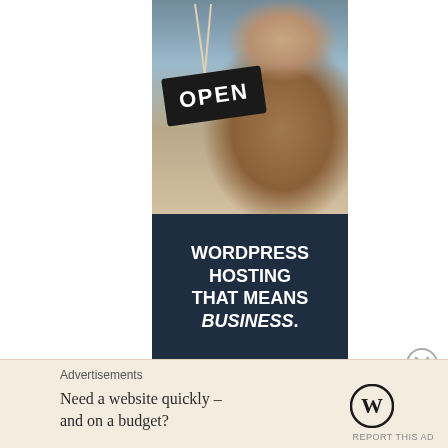[Figure (photo): Advertisement banner showing a smiling woman holding an OPEN sign, with dark navy panel below reading WORDPRESS HOSTING THAT MEANS BUSINESS.]
Advertisements
Need a website quickly – and on a budget?
[Figure (logo): WordPress logo (W in circle)]
REPORT THIS AD